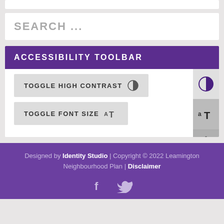[Figure (screenshot): Search input box with placeholder text 'SEARCH ...']
ACCESSIBILITY TOOLBAR
TOGGLE HIGH CONTRAST
TOGGLE FONT SIZE
Designed by Identity Studio | Copyright © 2022 Leamington Neighbourhood Plan | Disclaimer